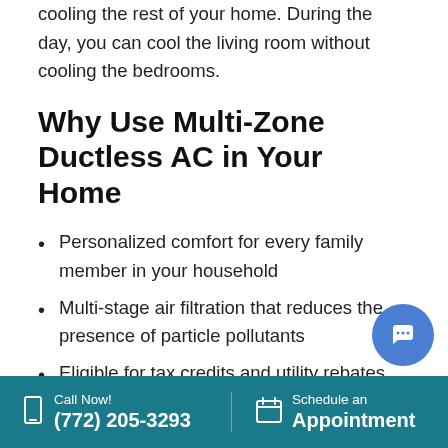cooling the rest of your home. During the day, you can cool the living room without cooling the bedrooms.
Why Use Multi-Zone Ductless AC in Your Home
Personalized comfort for every family member in your household
Multi-stage air filtration that reduces the presence of particle pollutants
Eligible for tax credits and utility rebates
There are numerous HVAC systems to choose from when you're shopping for a new unit. One of the best ways to cool and heat your
Call Now! (772) 205-3293 | Schedule an Appointment